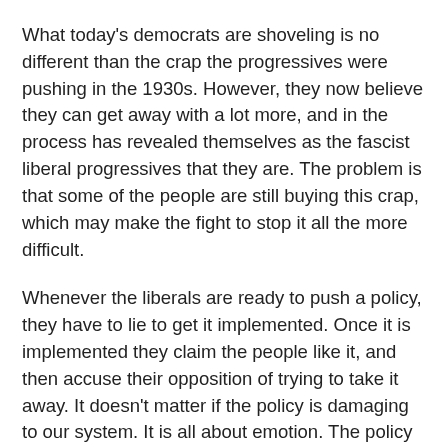What today's democrats are shoveling is no different than the crap the progressives were pushing in the 1930s. However, they now believe they can get away with a lot more, and in the process has revealed themselves as the fascist liberal progressives that they are. The problem is that some of the people are still buying this crap, which may make the fight to stop it all the more difficult.
Whenever the liberals are ready to push a policy, they have to lie to get it implemented. Once it is implemented they claim the people like it, and then accuse their opposition of trying to take it away. It doesn't matter if the policy is damaging to our system. It is all about emotion. The policy makes them feel good about themselves, and they push it as something that is a gift from the government - regardless of the tyrannical nature of the policy, or the unconstitutionality of it.
Never mind that the policies they push have failed in history over and over again. Never mind that Europe is collapsing over the fact that they have had the policies Obama is